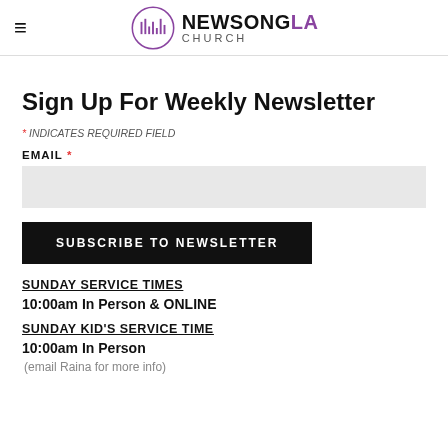NEWSONGLA CHURCH
Sign Up For Weekly Newsletter
* INDICATES REQUIRED FIELD
EMAIL *
SUBSCRIBE TO NEWSLETTER
SUNDAY SERVICE TIMES
10:00am In Person & ONLINE
SUNDAY KiD's SERVICE TIME
10:00am In Person
(email Raina for more info)